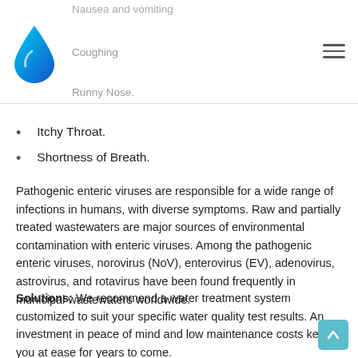Nausea and vomiting | Coughing | Runny Nose.
Itchy Throat.
Shortness of Breath.
Pathogenic enteric viruses are responsible for a wide range of infections in humans, with diverse symptoms. Raw and partially treated wastewaters are major sources of environmental contamination with enteric viruses. Among the pathogenic enteric viruses, norovirus (NoV), enterovirus (EV), adenovirus, astrovirus, and rotavirus have been found frequently in municipal wastewaters worldwide.
Solutions: We recommend a water treatment system customized to suit your specific water quality test results. An investment in peace of mind and low maintenance costs keep you at ease for years to come.